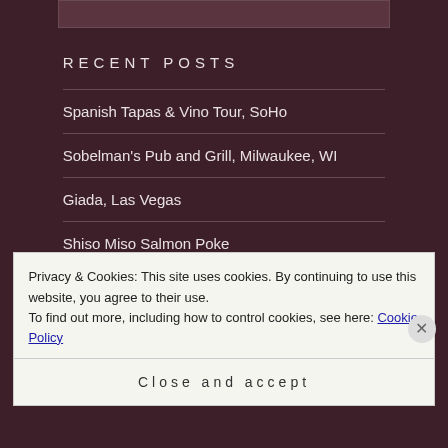[Figure (photo): Partial image at top of page, cropped]
RECENT POSTS
Spanish Tapas & Vino Tour, SoHo
Sobelman's Pub and Grill, Milwaukee, WI
Giada, Las Vegas
Shiso Miso Salmon Poke
Privacy & Cookies: This site uses cookies. By continuing to use this website, you agree to their use. To find out more, including how to control cookies, see here: Cookie Policy
Close and accept